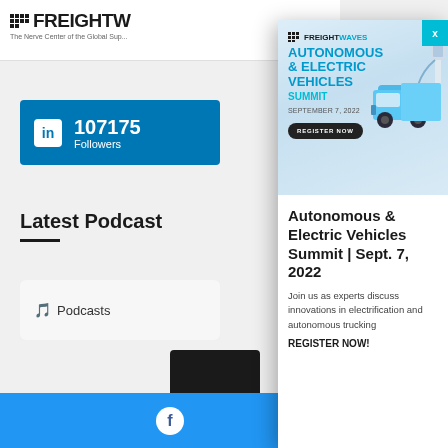[Figure (screenshot): FreightWaves website background showing logo, LinkedIn followers box with 107175 followers, Latest Podcast section, Apple Podcasts widget, dark podcast card, and blue Facebook footer bar]
[Figure (infographic): FreightWaves Autonomous & Electric Vehicles Summit popup advertisement banner with truck illustration, REGISTER NOW button, event title 'Autonomous & Electric Vehicles Summit | Sept. 7, 2022', description text, and X close button]
Autonomous & Electric Vehicles Summit | Sept. 7, 2022
Join us as experts discuss innovations in electrification and autonomous trucking
REGISTER NOW!